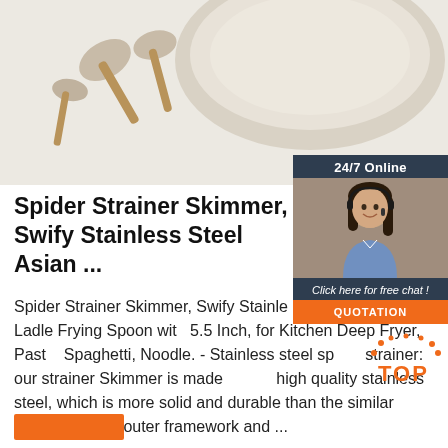[Figure (photo): Kitchen utensils on a light beige/cream background — wooden-handled spoons and a large bowl or pan lid visible]
[Figure (infographic): 24/7 Online chat widget with dark blue background, photo of a smiling female customer service agent with headset, 'Click here for free chat!' text, and orange QUOTATION button]
Spider Strainer Skimmer, Swify Stainless Steel Asian ...
Spider Strainer Skimmer, Swify Stainless Steel Asian Strainer Ladle Frying Spoon with 5.5 Inch, for Kitchen Deep Fryer, Pasta, Spaghetti, Noodle. - Stainless steel spider strainer: our strainer Skimmer is made of 304 high quality stainless steel, which is more solid and durable than the similar strainer, sturdy outer framework and ...
[Figure (logo): TOP logo with orange dots surrounding the word TOP in orange text]